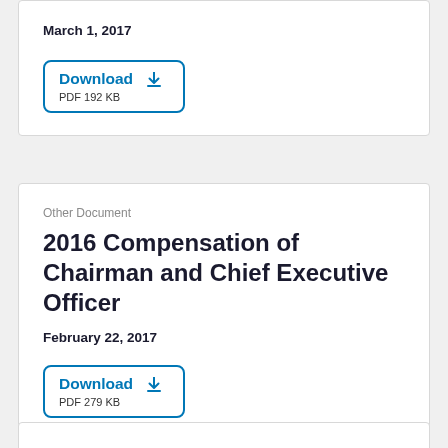March 1, 2017
Download
PDF 192 KB
Other Document
2016 Compensation of Chairman and Chief Executive Officer
February 22, 2017
Download
PDF 279 KB